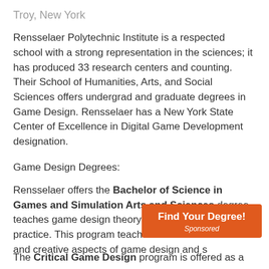Troy, New York
Rensselaer Polytechnic Institute is a respected school with a strong representation in the sciences; it has produced 33 research centers and counting. Their School of Humanities, Arts, and Social Sciences offers undergrad and graduate degrees in Game Design. Rensselaer has a New York State Center of Excellence in Digital Game Development designation.
Game Design Degrees:
Rensselaer offers the Bachelor of Science in Games and Simulation Arts and Sciences degree teaches game design theory and implementation in practice. This program teaches students technical and creative aspects of game design and s
[Figure (other): Orange CTA button reading 'Find Your Degree!' with 'Sponsored' subtitle]
The Critical Game Design program is offered as a